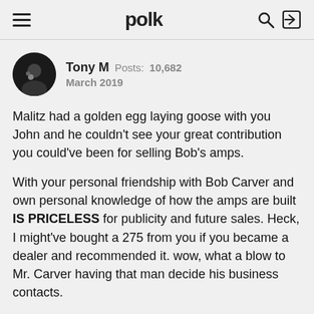polk
Tony M  Posts: 10,682
March 2019
Malitz had a golden egg laying goose with you John and he couldn't see your great contribution you could've been for selling Bob's amps.
With your personal friendship with Bob Carver and own personal knowledge of how the amps are built IS PRICELESS for publicity and future sales. Heck, I might've bought a 275 from you if you became a dealer and recommended it. wow, what a blow to Mr. Carver having that man decide his business contacts.
You might've even been successful enough to open a brick and mortar Carver amp store. I truly believe that too.